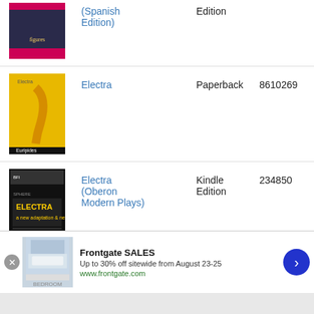| Cover | Title | Format | ID |
| --- | --- | --- | --- |
| [book cover] | (Spanish Edition) | Edition |  |
| [book cover] | Electra | Paperback | 8610269 |
| [book cover] | Electra (Oberon Modern Plays) | Kindle Edition | 234850 |
| [book cover] | Electra | Kindle Edition | 907351 |
[Figure (screenshot): Advertisement banner for Frontgate SALES - Up to 30% off sitewide from August 23-25, www.frontgate.com]